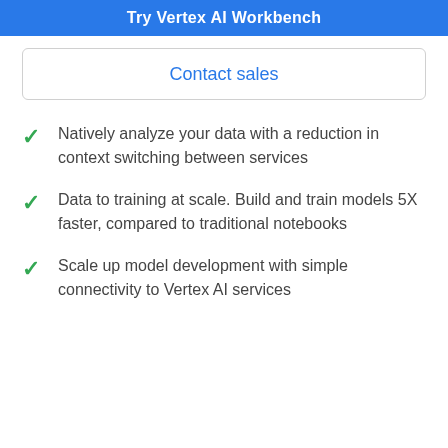Try Vertex AI Workbench
Contact sales
Natively analyze your data with a reduction in context switching between services
Data to training at scale. Build and train models 5X faster, compared to traditional notebooks
Scale up model development with simple connectivity to Vertex AI services